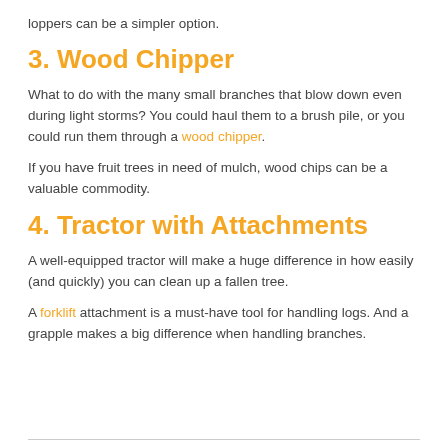loppers can be a simpler option.
3. Wood Chipper
What to do with the many small branches that blow down even during light storms? You could haul them to a brush pile, or you could run them through a wood chipper.
If you have fruit trees in need of mulch, wood chips can be a valuable commodity.
4. Tractor with Attachments
A well-equipped tractor will make a huge difference in how easily (and quickly) you can clean up a fallen tree.
A forklift attachment is a must-have tool for handling logs. And a grapple makes a big difference when handling branches.